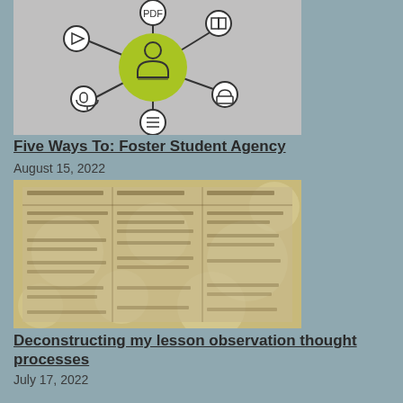[Figure (infographic): Diagram showing a student figure in a green/lime circle at center, connected by lines to 5 outer white circles containing icons: PDF (top), book/reading (top right), cloud/computer (bottom right), list/menu (bottom), microphone (bottom left), play button (left). Gray background.]
Five Ways To: Foster Student Agency
August 15, 2022
[Figure (photo): Blurry/bokeh background photo with a table/document overlay showing lesson observation notes in multiple columns.]
Deconstructing my lesson observation thought processes
July 17, 2022
[Figure (photo): Dark background with glowing light bulb bokeh circles. Text overlay reads: Curriculum Thinking, Free Masterclasses, Ideas Inspiration Models Perspectives]
Curriculum Masterclasses. A free sample